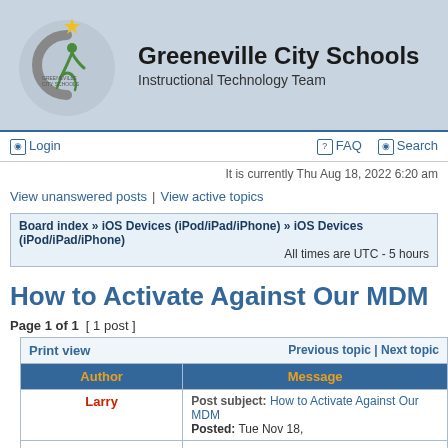Greeneville City Schools - Instructional Technology Team
Login | FAQ | Search
It is currently Thu Aug 18, 2022 6:20 am
View unanswered posts | View active topics
Board index » iOS Devices (iPod/iPad/iPhone) » iOS Devices (iPod/iPad/iPhone) - All times are UTC - 5 hours
How to Activate Against Our MDM
Page 1 of 1 [ 1 post ]
| Author | Message |
| --- | --- |
| Larry | Post subject: How to Activate Against Our MDM
Posted: Tue Nov 18, |
| offline | The Greeneville City Schools
AirWatch for Mobile Device... |